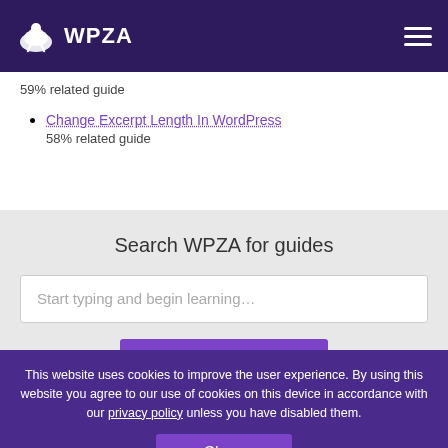WPZA
59% related guide
Change Excerpt Length In WordPress
58% related guide
Search WPZA for guides
Start typing and begin learning…
Search WPZA
WPZA > WordPress Guides > Add New Users With WordPress User Roles
This website uses cookies to improve the user experience. By using this website you agree to our use of cookies on this device in accordance with our privacy policy unless you have disabled them.
Close
This site is owned and operated by Point And Quack Limited,